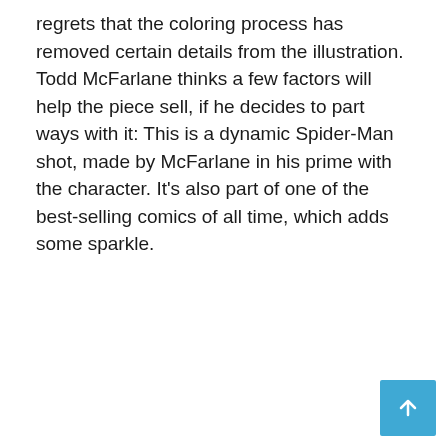regrets that the coloring process has removed certain details from the illustration. Todd McFarlane thinks a few factors will help the piece sell, if he decides to part ways with it: This is a dynamic Spider-Man shot, made by McFarlane in his prime with the character. It's also part of one of the best-selling comics of all time, which adds some sparkle.